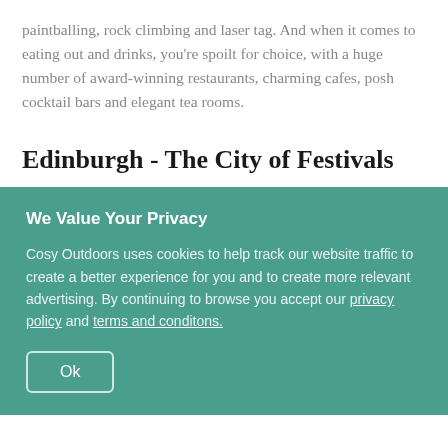paintballing, rock climbing and laser tag. And when it comes to eating out and drinks, you're spoilt for choice, with a huge number of award-winning restaurants, charming cafes, posh cocktail bars and elegant tea rooms.
Edinburgh - The City of Festivals
We Value Your Privacy
Cosy Outdoors uses cookies to help track our website traffic to create a better experience for you and to create more relevant advertising. By continuing to browse you accept our privacy policy and terms and conditons.